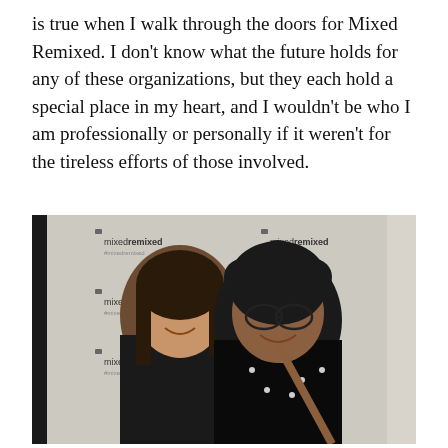is true when I walk through the doors for Mixed Remixed. I don't know what the future holds for any of these organizations, but they each hold a special place in my heart, and I wouldn't be who I am professionally or personally if it weren't for the tireless efforts of those involved.
[Figure (photo): Two women smiling and posing together in front of a Mixed Remixed branded step-and-repeat backdrop. The woman on the left has long dark hair and wears a black patterned top. The woman on the right has curly hair and wears glasses with a black top with white dots and a tan crossbody bag.]